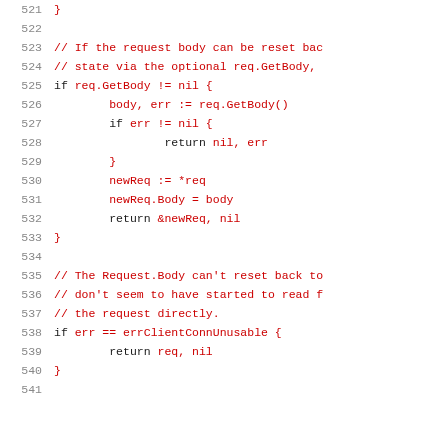521-541: Go source code snippet showing HTTP request body handling with GetBody and errClientConnUnusable logic